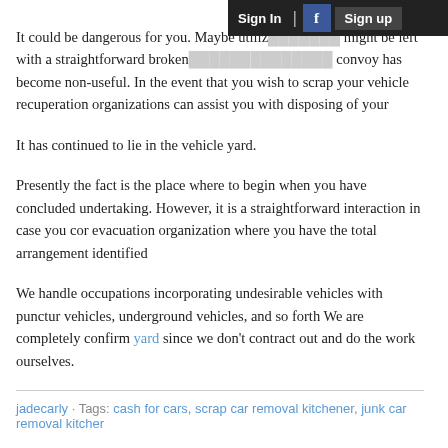Sign In | f | Sign up
It could be dangerous for you. Maybe utilizing might be left with a straightforward broken convoy has become non-useful. In the event that you wish to scrap your vehicle recuperation organizations can assist you with disposing of your
It has continued to lie in the vehicle yard.
Presently the fact is the place where to begin when you have concluded undertaking. However, it is a straightforward interaction in case you com evacuation organization where you have the total arrangement identified
We handle occupations incorporating undesirable vehicles with punctu vehicles, underground vehicles, and so forth We are completely confirm yard since we don't contract out and do the work ourselves.
jadecarly · Tags: cash for cars, scrap car removal kitchener, junk car removal kitchener